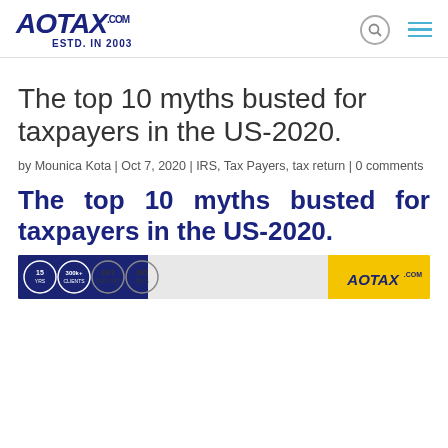AOTAX.COM ESTD. IN 2003
The top 10 myths busted for taxpayers in the US-2020.
by Mounica Kota | Oct 7, 2020 | IRS, Tax Payers, tax return | 0 comments
The top 10 myths busted for taxpayers in the US-2020.
[Figure (infographic): AOTAX.COM promotional banner with circular badges showing 15, 300K+, 24/7, 365 and logo]